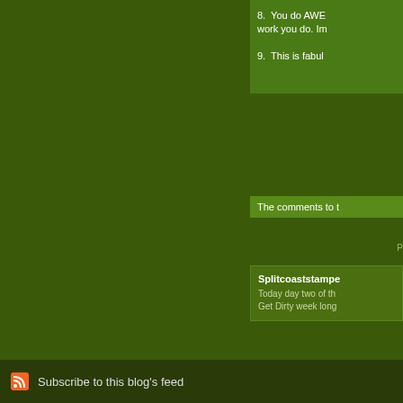8.  You do AWE... work you do. Im...
9.  This is fabul...
The comments to t...
P...
Splitcoaststampe... Today day two of th... Get Dirty week long...
Subscribe to this blog's feed